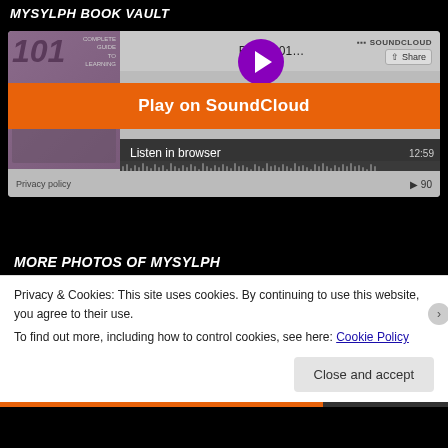MYSYLPH BOOK VAULT
[Figure (screenshot): SoundCloud embedded player showing Ballet 101 audio track with play button, waveform, 'Play on SoundCloud' orange banner, 'Listen in browser' button, time 12:59, play count 90, and Privacy policy link]
MORE PHOTOS OF MYSYLPH
Privacy & Cookies: This site uses cookies. By continuing to use this website, you agree to their use.
To find out more, including how to control cookies, see here: Cookie Policy
Close and accept